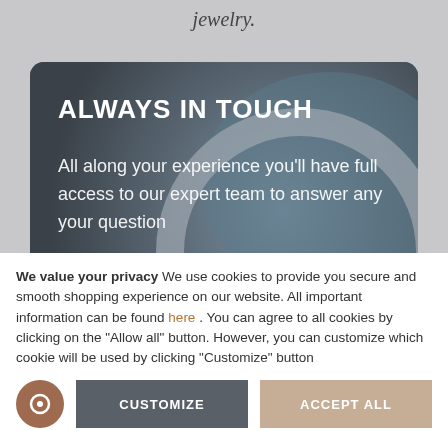jewelry.
[Figure (photo): Dark gray card with a diamond ring photograph in the background. The ring is shown from below, featuring a circular band and gemstone setting. Card contains promotional text overlay.]
ALWAYS IN TOUCH
All along your experience you'll have full access to our expert team to answer any your question
We value your privacy We use cookies to provide you secure and smooth shopping experience on our website. All important information can be found here . You can agree to all cookies by clicking on the "Allow all" button. However, you can customize which cookie will be used by clicking "Customize" button